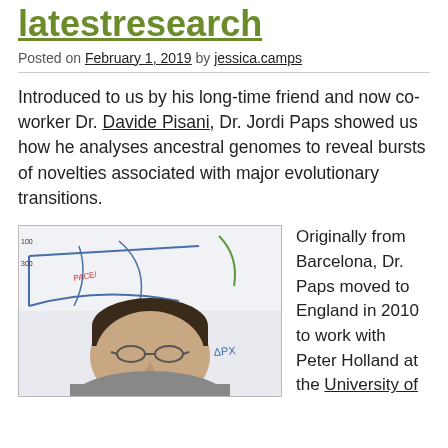latestresearch
Posted on February 1, 2019 by jessica.camps
Introduced to us by his long-time friend and now co-worker Dr. Davide Pisani, Dr. Jordi Paps showed us how he analyses ancestral genomes to reveal bursts of novelties associated with major evolutionary transitions.
[Figure (photo): Photo of Dr. Jordi Paps, a man with short dark hair and glasses, standing in front of a whiteboard with blue and red marker drawings.]
Originally from Barcelona, Dr. Paps moved to England in 2010 to work with Peter Holland at the University of